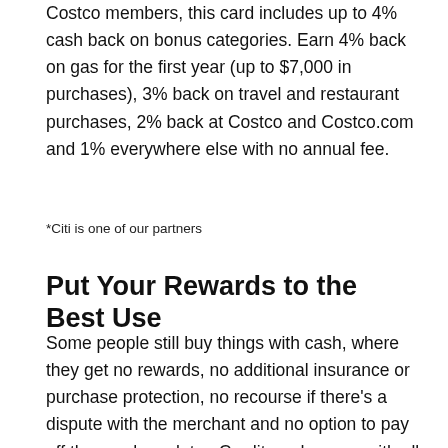Costco members, this card includes up to 4% cash back on bonus categories. Earn 4% back on gas for the first year (up to $7,000 in purchases), 3% back on travel and restaurant purchases, 2% back at Costco and Costco.com and 1% everywhere else with no annual fee.
*Citi is one of our partners
Put Your Rewards to the Best Use
Some people still buy things with cash, where they get no rewards, no additional insurance or purchase protection, no recourse if there's a dispute with the merchant and no option to pay off the purchase later. Credit cards come with all of these benefits and more, and now you can add buying cryptocurrency to the list of perks if you choose the